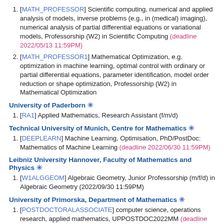[MATH_PROFESSOR] Scientific computing, numerical and applied analysis of models, inverse problems (e.g., in (medical) imaging), numerical analysis of partial differential equations or variational models, Professorship (W2) in Scientific Computing (deadline 2022/05/13 11:59PM)
[MATH_PROFESSOR1] Mathematical Optimization, e.g. optimization in machine learning, optimal control with ordinary or partial differential equations, parameter identification, model order reduction or shape optimization, Professorship (W2) in Mathematical Optimization
University of Paderborn ✳
[RA1] Applied Mathematics, Research Assistant (f/m/d)
Technical University of Munich, Centre for Mathematics ✳
[DEEPLEARN] Machine Learning, Optimisation, PhD/PostDoc: Mathematics of Machine Learning (deadline 2022/06/30 11:59PM)
Leibniz University Hannover, Faculty of Mathematics and Physics ✳
[W1ALGGEOM] Algebraic Geometry, Junior Professorship (m/f/d) in Algebraic Geometry (2022/09/30 11:59PM)
University of Primorska, Department of Mathematics ✳
[POSTDOCTORALASSOCIATE] computer science, operations research, applied mathematics, UPPOSTDOC2022MM (deadline 2022/04/30 11:59PM)